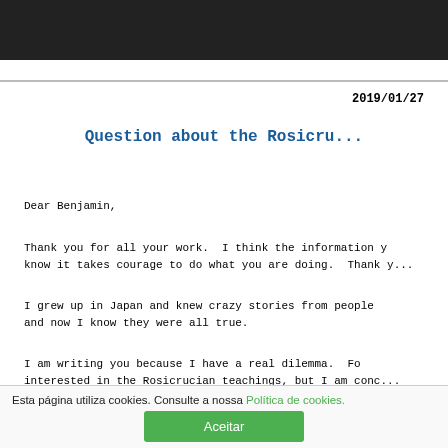2019/01/27
Question about the Rosicru...
Dear Benjamin,
Thank you for all your work.  I think the information y... know it takes courage to do what you are doing.  Thank y...
I grew up in Japan and knew crazy stories from people ... and now I know they were all true.
I am writing you because I have a real dilemma.  Fo... interested in the Rosicrucian teachings, but I am conc...
Are the Rosicrucians the "good" branch of the illum...
Esta página utiliza cookies. Consulte a nossa Política de cookies.
Aceitar